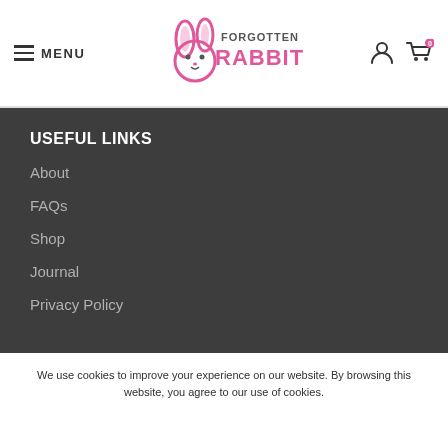MENU | Forgotten Rabbit logo | User icon | Cart (0)
USEFUL LINKS
About
FAQs
Shop
Journal
Privacy Policy
We use cookies to improve your experience on our website. By browsing this website, you agree to our use of cookies.
MORE INFO | ACCEPT